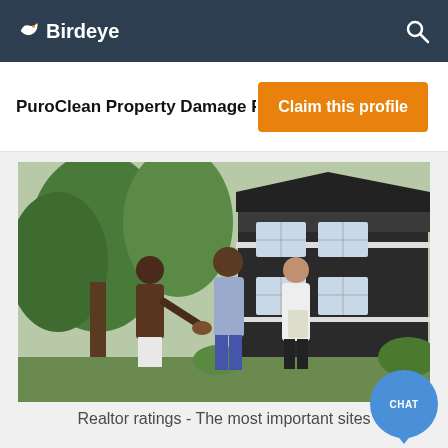Birdeye
PuroClean Property Damage R...
Claim this profile
[Figure (photo): Three people standing in front of a modern dark-sided house with trees in the background. One woman is shaking hands with another woman who appears to be a real estate agent holding papers, while a man stands nearby.]
Realtor ratings - The most important sites